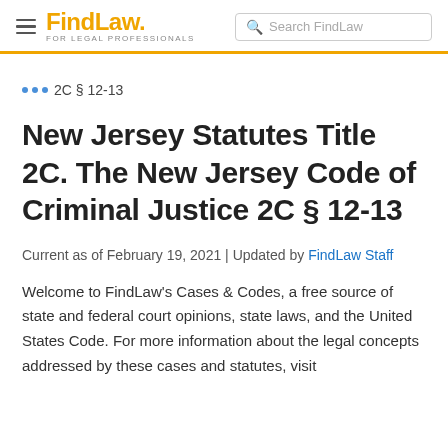FindLaw FOR LEGAL PROFESSIONALS | Search FindLaw
··· 2C § 12-13
New Jersey Statutes Title 2C. The New Jersey Code of Criminal Justice 2C § 12-13
Current as of February 19, 2021 | Updated by FindLaw Staff
Welcome to FindLaw's Cases & Codes, a free source of state and federal court opinions, state laws, and the United States Code. For more information about the legal concepts addressed by these cases and statutes, visit